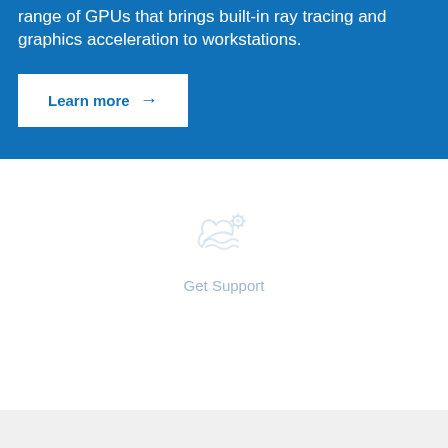range of GPUs that brings built-in ray tracing and graphics acceleration to workstations.
Learn more →
[Figure (illustration): Faint blue support icon showing a hand with a wrench/gear, representing Get Support]
Get Support